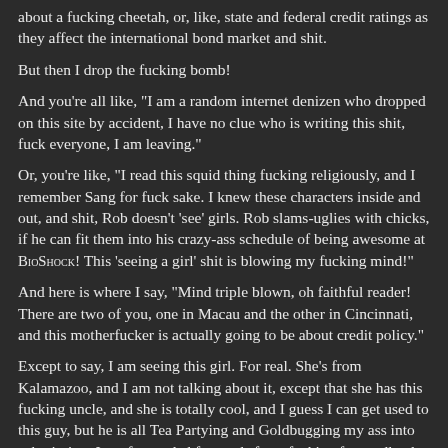about a fucking cheetah, or, like, state and federal credit ratings as they affect the international bond market and shit.
But then I drop the fucking bomb!
And you're all like, "I am a random internet denizen who dropped on this site by accident, I have no clue who is writing this shit, fuck everyone, I am leaving."
Or, you're like, "I read this squid thing fucking religiously, and I remember Sang for fuck sake. I knew these characters inside and out, and shit, Rob doesn't 'see' girls. Rob slams-uglies with chicks, if he can fit them into his crazy-ass schedule of being awesome at BIOSHOCK! This 'seeing a girl' shit is blowing my fucking mind!"
And here is where I say, "Mind triple blown, oh faithful reader! There are two of you, one in Macau and the other in Cincinnati, and this motherfucker is actually going to be about credit policy."
Except to say, I am seeing this girl. For real. She's from Kalamazoo, and I am not talking about it, except that she has this fucking uncle, and she is totally cool, and I guess I can get used to this guy, but he is all Tea Partying and Goldbugging my ass into submission. I get forwarded forwards from fucking forwardland until I had to fucking abandon an email account!